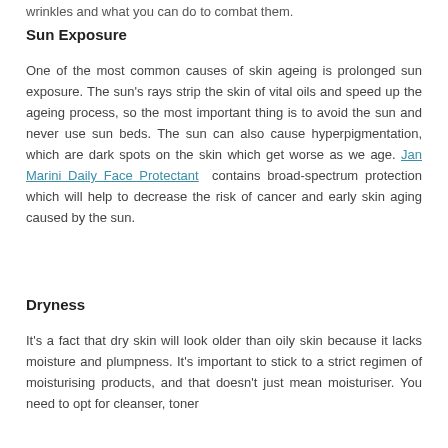wrinkles and what you can do to combat them.
Sun Exposure
One of the most common causes of skin ageing is prolonged sun exposure. The sun’s rays strip the skin of vital oils and speed up the ageing process, so the most important thing is to avoid the sun and never use sun beds. The sun can also cause hyperpigmentation, which are dark spots on the skin which get worse as we age. Jan Marini Daily Face Protectant contains broad-spectrum protection which will help to decrease the risk of cancer and early skin aging caused by the sun.
Dryness
It’s a fact that dry skin will look older than oily skin because it lacks moisture and plumpness. It’s important to stick to a strict regimen of moisturising products, and that doesn’t just mean moisturiser. You need to opt for cleanser, toner